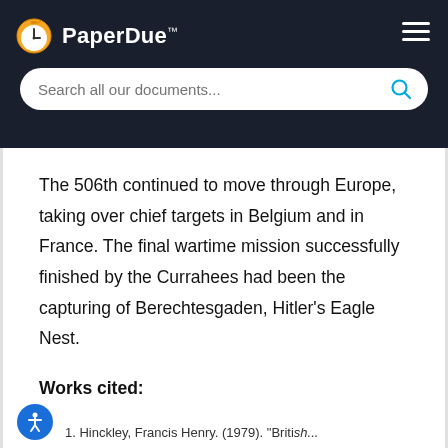PaperDue™
The 506th continued to move through Europe, taking over chief targets in Belgium and in France. The final wartime mission successfully finished by the Currahees had been the capturing of Berechtesgaden, Hitler's Eagle Nest.
Works cited:
1. Hinckley, Francis Henry. (1979). "British...